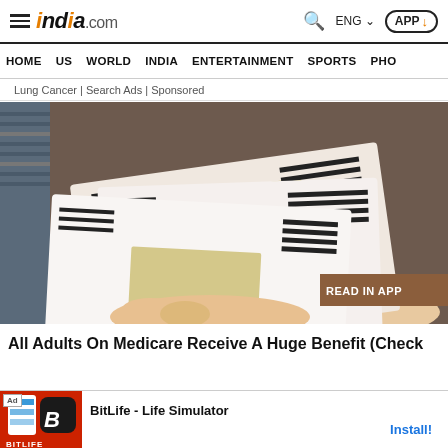india.com — HOME US WORLD INDIA ENTERTAINMENT SPORTS PHO
Lung Cancer | Search Ads | Sponsored
[Figure (photo): Photo of a person holding multiple paper checks/envelopes showing printed black text and check windows, with a 'READ IN APP' badge overlay]
All Adults On Medicare Receive A Huge Benefit (Check
Ad — BitLife - Life Simulator — Install!